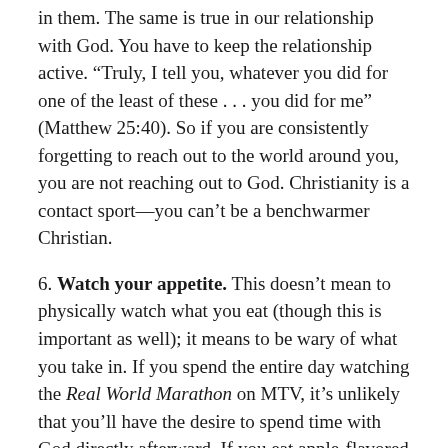in them. The same is true in our relationship with God. You have to keep the relationship active. “Truly, I tell you, whatever you did for one of the least of these . . . you did for me” (Matthew 25:40). So if you are consistently forgetting to reach out to the world around you, you are not reaching out to God. Christianity is a contact sport—you can’t be a benchwarmer Christian.
6. Watch your appetite. This doesn’t mean to physically watch what you eat (though this is important as well); it means to be wary of what you take in. If you spend the entire day watching the Real World Marathon on MTV, it’s unlikely that you’ll have the desire to spend time with God directly afterward. If you eat apple-flavored candy before eating an apple, the apple is less likely to taste as sweet. The same is true in your spiritual life. The music, books, TV and Internet you are consuming can dull your appetite for God.